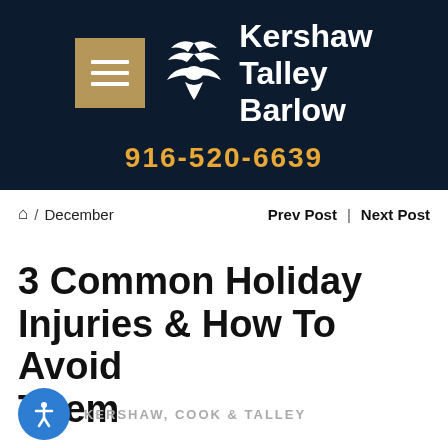[Figure (logo): Kershaw Talley Barlow law firm logo with stylized eagle icon, firm name in white text, phone number 916-520-6639 in gold, on dark navy background]
🏠 / December   Prev Post | Next Post
3 Common Holiday Injuries & How To Avoid Them
KERSHAW, COOK & TALLEY